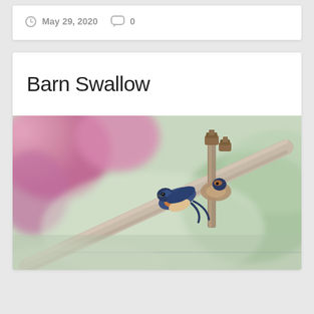May 29, 2020   0
Barn Swallow
[Figure (photo): A barn swallow bird perched on a metal pipe/rod with bolts, with a blurred pink floral and green background.]